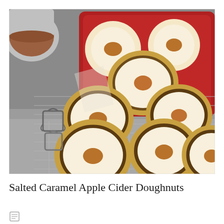[Figure (photo): Photo of Salted Caramel Apple Cider Doughnuts: round doughnuts with nut-crusted chocolate edges and caramel leaf-shaped cutouts in the center, displayed on a red rectangular plate and on a wire cooling rack on a gray surface. Cookie cutters visible on the left.]
Salted Caramel Apple Cider Doughnuts